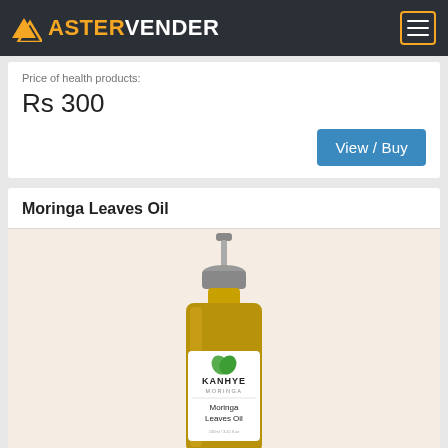ASTERVENDER
Price of health products:
Rs 300
View / Buy
Moringa Leaves Oil
[Figure (photo): Product photo of Kanhye Moringa brand Moringa Leaves Oil in an amber glass spray bottle with a grey pump top and white label showing green leaf logo.]